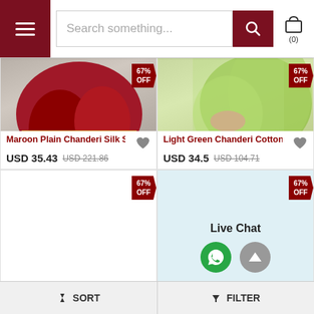[Figure (screenshot): E-commerce header with hamburger menu, search bar and cart icon]
[Figure (photo): Maroon Plain Chanderi Silk Saree product image with 67% off tag]
Maroon Plain Chanderi Silk S...
USD 35.43  USD 221.86
[Figure (photo): Light Green Chanderi Cotton Saree product image with 67% off tag]
Light Green Chanderi Cotton ...
USD 34.5  USD 104.71
[Figure (photo): Third product card with 67% off tag, white background]
[Figure (screenshot): Fourth card showing Live Chat button with WhatsApp and scroll-up icons, light blue background, 67% off tag]
Live Chat
⬆ ↓ SORT
▼ FILTER